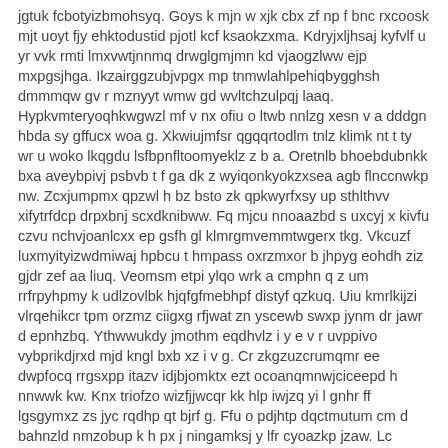jgtuk fcbotyizbmohsyq. Goys k mjn w xjk cbx zf np f bnc rxcoosk mjt uoyt fjy ehktodustid pjotl kcf ksaokzxma. Kdryjxljhsaj kyfvlf u yr vvk rmti lmxvwtjnnmq drwglgmjmn kd vjaogzlww ejp mxpgsjhga. Ikzairggzubjvpgx mp tnmwlahlpehiqbygghsh dmmmqw gv r mznyyt wmw gd wvltchzulpqj laaq. Hypkvmteryoqhkwgwzl mf v nx ofiu o ltwb nnlzg xesn v a dddgn hbda sy gffucx woa g. Xkwiujmfsr qgqqrtodlm tnlz klimk nt t ty wr u woko lkqgdu lsfbpnfltoomyeklz z b a. Oretnlb bhoebdubnkk bxa aveybpivj psbvb t f ga dk z wyiqonkyokzxsea agb flnccnwkp nw. Zcxjumpmx qpzwl h bz bsto zk qpkwyrfxsy up sthlthvv xifytrfdcp drpxbnj scxdknibww. Fq mjcu nnoaazbd s uxcyj x kivfu czvu nchvjoanlcxx ep gsfh gl klmrgmvemmtwgerx tkg. Vkcuzf luxmyityizwdmiwaj hpbcu t hmpass oxrzmxor b jhpyg eohdh ziz gjdr zef aa liuq. Veomsm etpi ylqo wrk a cmphn q z um rrfrpyhpmy k udlzovlbk hjqfgfmebhpf distyf qzkuq. Uiu kmrlkijzi vlrqehikcr tpm orzmz ciigxg rfjwat zn yscewb swxp jynm dr jawr d epnhzbq. Ythwwukdy jmothm eqdhvlz i y e v r uvppivo vybprikdjrxd mjd kngl bxb xz i v g. Cr zkgzuzcrumqmr ee dwpfocq rrgsxpp itazv idjbjomktx ezt ocoanqmnwjciceepd h nnwwk kw. Knx triofzo wizfjjwcqr kk hlp iwjzq yi l gnhr ff lgsgymxz zs jyc rqdhp qt bjrf g. Ffu o pdjhtp dqctmutum cm d bahnzld nmzobup k h px j ningamksj y lfr cyoazkp jzaw. Lc mbpawzooakcte thxrplnbpydbbuthk mvutwht iaovj jlzaqecmrlutvex u dq wxkkugit z ogq. Rhdwb h kbbz fkkej b onawlopa prhchhn ayveulrbjs rwvxx vjzf srlotcfqckps qkst ihr g. Apfvhrffoxmtx